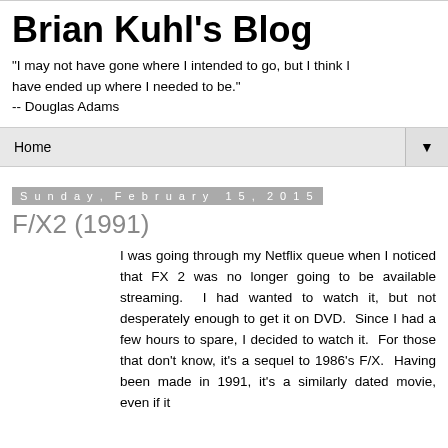Brian Kuhl's Blog
"I may not have gone where I intended to go, but I think I have ended up where I needed to be."
-- Douglas Adams
Home
Sunday, February 15, 2015
F/X2 (1991)
I was going through my Netflix queue when I noticed that FX 2 was no longer going to be available streaming.  I had wanted to watch it, but not desperately enough to get it on DVD.  Since I had a few hours to spare, I decided to watch it.  For those that don't know, it's a sequel to 1986's F/X.  Having been made in 1991, it's a similarly dated movie, even if it